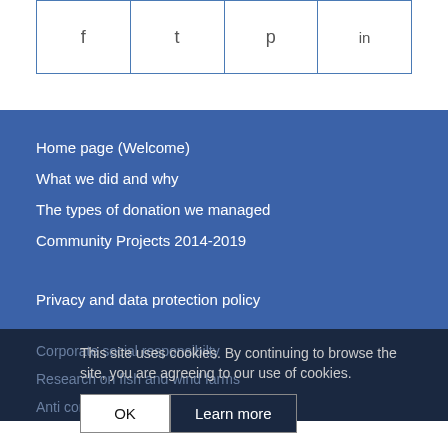[Figure (other): Social share buttons row: Facebook, Twitter, Pinterest, LinkedIn icons in a bordered row]
Home page (Welcome)
What we did and why
The types of donation we managed
Community Projects 2014-2019
Privacy and data protection policy
Corporate social responsibilty
Research on fish and wind farms
Anti corruption & bribery policy
This site uses cookies. By continuing to browse the site, you are agreeing to our use of cookies.